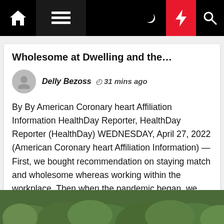Navigation bar with home, menu, moon, bolt, search icons
Wholesome at Dwelling and the…
Delly Bezoss  31 mins ago
By By American Coronary heart Affiliation Information HealthDay Reporter, HealthDay Reporter (HealthDay) WEDNESDAY, April 27, 2022 (American Coronary heart Affiliation Information) — First, we bought recommendation on staying match and wholesome whereas working within the workplace. Then when the pandemic began, we bought recommendation on staying match and wholesome whereas […]
[Figure (photo): Partial view of a forest or wooded area with green foliage visible at the bottom of the page]